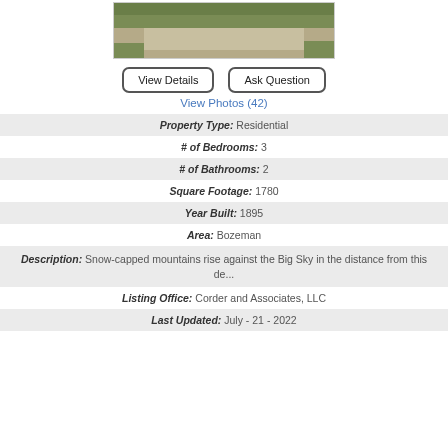[Figure (photo): Outdoor photo showing a gravel driveway/path with green grass on either side]
View Details | Ask Question
View Photos (42)
| Property Type: | Residential |
| # of Bedrooms: | 3 |
| # of Bathrooms: | 2 |
| Square Footage: | 1780 |
| Year Built: | 1895 |
| Area: | Bozeman |
| Description: | Snow-capped mountains rise against the Big Sky in the distance from this de... |
| Listing Office: | Corder and Associates, LLC |
| Last Updated: | July - 21 - 2022 |